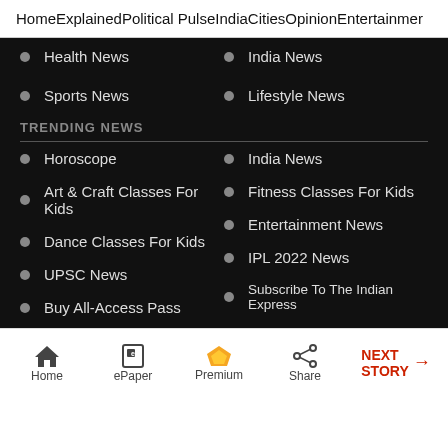Home  Explained  Political Pulse  India  Cities  Opinion  Entertainment
Health News
India News
Sports News
Lifestyle News
TRENDING NEWS
Horoscope
India News
Art & Craft Classes For Kids
Fitness Classes For Kids
Dance Classes For Kids
Entertainment News
UPSC News
IPL 2022 News
Buy All-Access Pass
Subscribe To The Indian Express
Buy Digital Premium
Cyrus Mistry (1968-2022):
Home  ePaper  Premium  Share  NEXT STORY